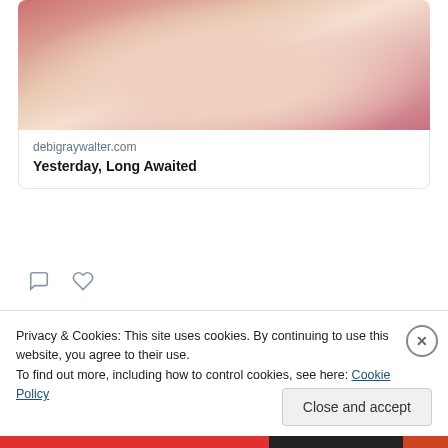[Figure (photo): Cropped photo showing a person in a red jacket and white top, photo strip at top of tweet card]
debigraywalter.com
Yesterday, Long Awaited
[Figure (illustration): Comment icon (speech bubble outline) and heart/like icon (heart outline) — Twitter action icons]
View more on Twitter
Learn more about privacy on Twitter
Privacy & Cookies: This site uses cookies. By continuing to use this website, you agree to their use.
To find out more, including how to control cookies, see here: Cookie Policy
Close and accept